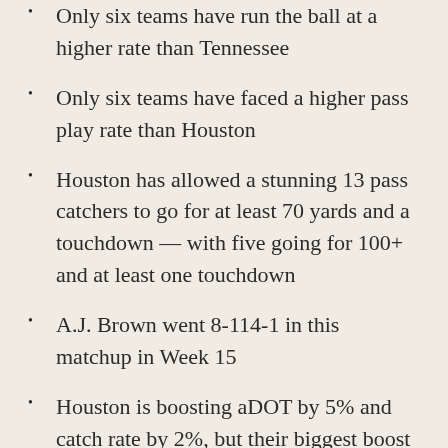Only six teams have run the ball at a higher rate than Tennessee
Only six teams have faced a higher pass play rate than Houston
Houston has allowed a stunning 13 pass catchers to go for at least 70 yards and a touchdown — with five going for 100+ and at least one touchdown
A.J. Brown went 8-114-1 in this matchup in Week 15
Houston is boosting aDOT by 5% and catch rate by 2%, but their biggest boost has come in the YAC department, where they are boosting the league-average YAC/r by nearly 14%
A.J. Brown ranks second in the NFL in YAC/r, at